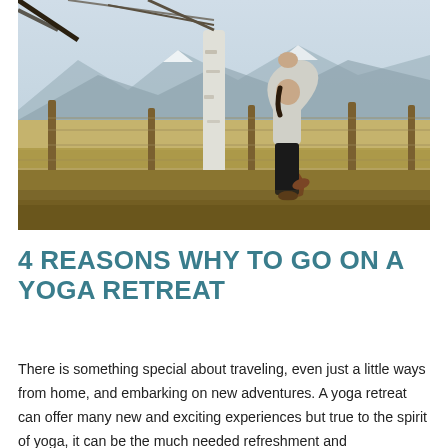[Figure (photo): A person performing a tree yoga pose (standing on one leg with arms raised overhead) outdoors near a wooden fence and birch tree, with open countryside fields and mountains in the background. The scene appears to be in autumn or winter with dry grass and snow-capped mountains visible.]
4 REASONS WHY TO GO ON A YOGA RETREAT
There is something special about traveling, even just a little ways from home, and embarking on new adventures. A yoga retreat can offer many new and exciting experiences but true to the spirit of yoga, it can be the much needed refreshment and